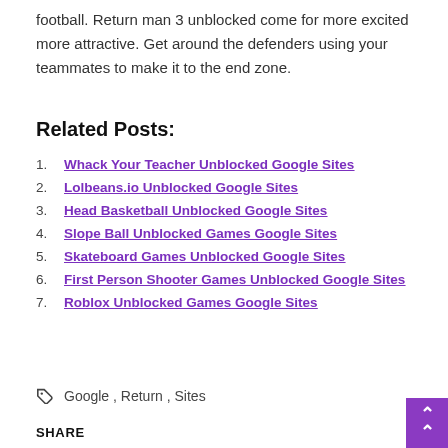football. Return man 3 unblocked come for more excited more attractive. Get around the defenders using your teammates to make it to the end zone.
Related Posts:
Whack Your Teacher Unblocked Google Sites
Lolbeans.io Unblocked Google Sites
Head Basketball Unblocked Google Sites
Slope Ball Unblocked Games Google Sites
Skateboard Games Unblocked Google Sites
First Person Shooter Games Unblocked Google Sites
Roblox Unblocked Games Google Sites
Google , Return , Sites
SHARE